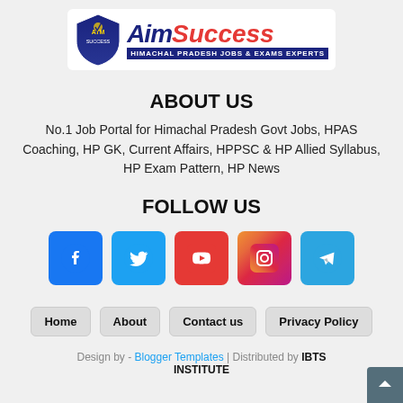[Figure (logo): AimSuccess logo with shield emblem and tagline 'Himachal Pradesh Jobs & Exams Experts']
ABOUT US
No.1 Job Portal for Himachal Pradesh Govt Jobs, HPAS Coaching, HP GK, Current Affairs, HPPSC & HP Allied Syllabus, HP Exam Pattern, HP News
FOLLOW US
[Figure (infographic): Social media icon buttons: Facebook, Twitter, YouTube, Instagram, Telegram]
Home
About
Contact us
Privacy Policy
Design by - Blogger Templates | Distributed by IBTS INSTITUTE